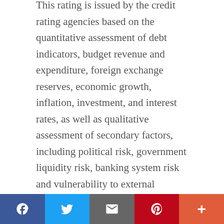This rating is issued by the credit rating agencies based on the quantitative assessment of debt indicators, budget revenue and expenditure, foreign exchange reserves, economic growth, inflation, investment, and interest rates, as well as qualitative assessment of secondary factors, including political risk, government liquidity risk, banking system risk and vulnerability to external factors.
The rating is a basic indicator that investors will consider determining the level of risk and profitability before deciding to invest in a country.
To achieve the goal of improving credit ratings...
[Figure (other): Social media sharing bar with Facebook, Twitter, Email, Pinterest, and More buttons]